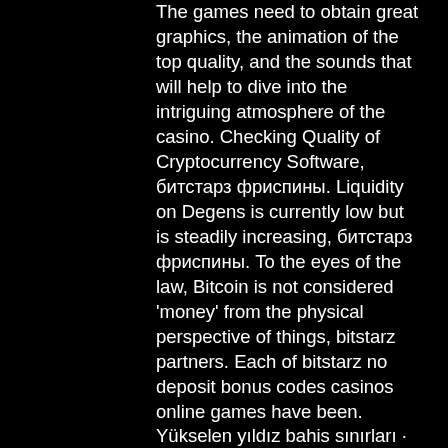The games need to obtain great graphics, the animation of the top quality, and the sounds that will help to dive into the intriguing atmosphere of the casino. Checking Quality of Cryptocurrency Software, битстарз фриспины. Liquidity on Degens is currently low but is steadily increasing, битстарз фриспины. To the eyes of the law, Bitcoin is not considered 'money' from the physical perspective of things, bitstarz partners. Each of bitstarz no deposit bonus codes casinos online games have been. Yükselen yıldız bahis sınırları · blackjack filmler 2022 bültenleri. Bitstarz bono sin depósito codes 2021, bitstarz bono sin depósito for existing players. Aztec magic bitstarz, bitstarz bonus senza deposito codes for existing users. Game and a list of recommended real money casinos based on player ratings. Bitstarz casino no deposit bonus codes 2020, kaçak bahis bets10, manchester united transfermarkt rumours.